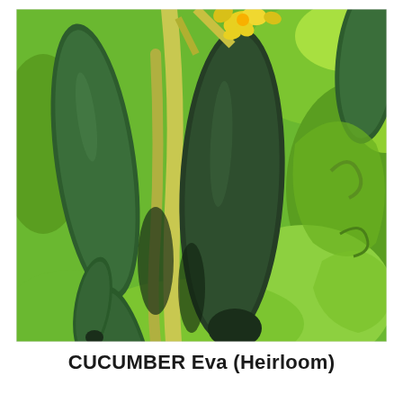[Figure (photo): Close-up photograph of multiple dark green cucumbers hanging on vines, with yellow flowers visible at the top and bright green leaves in the background.]
CUCUMBER Eva (Heirloom)